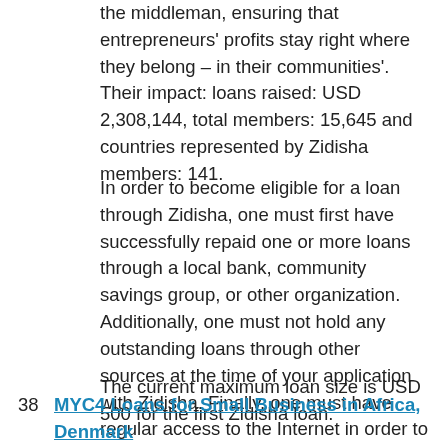the middleman, ensuring that entrepreneurs' profits stay right where they belong – in their communities'. Their impact: loans raised: USD 2,308,144, total members: 15,645 and countries represented by Zidisha members: 141.
In order to become eligible for a loan through Zidisha, one must first have successfully repaid one or more loans through a local bank, community savings group, or other organization. Additionally, one must not hold any outstanding loans through other sources at the time of your application with Zidisha. Finally, one must have regular access to the Internet in order to communicate with Zidisha lenders.
The current maximum loan size is USD 500 for the first Zidisha loan.
38  MYC4 Loans for Small Business in Africa, Denmark